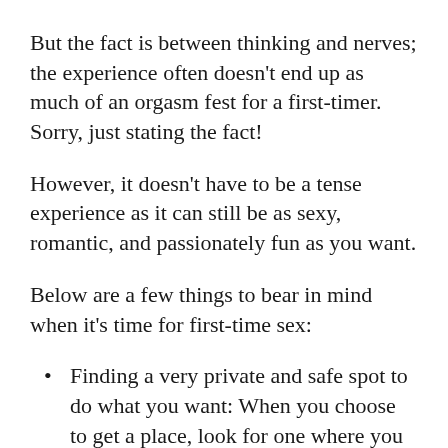But the fact is between thinking and nerves; the experience often doesn't end up as much of an orgasm fest for a first-timer. Sorry, just stating the fact!
However, it doesn't have to be a tense experience as it can still be as sexy, romantic, and passionately fun as you want.
Below are a few things to bear in mind when it's time for first-time sex:
Finding a very private and safe spot to do what you want: When you choose to get a place, look for one where you will not have to worry about interference from a